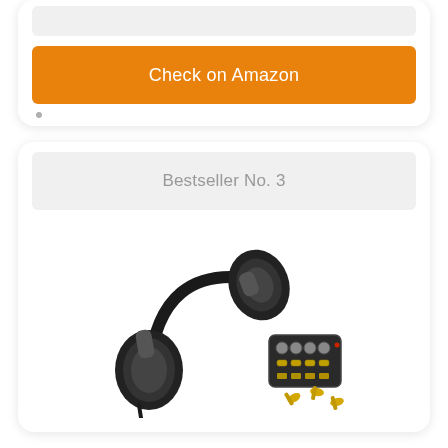[Figure (screenshot): Gray bar placeholder at top of first card]
Check on Amazon
Bestseller No. 3
[Figure (photo): Beyerdynamic headphones and audio amplifier/interface product photo]